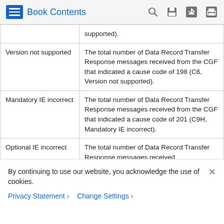Book Contents
|  |  |
| --- | --- |
|  | supported). |
| Version not supported | The total number of Data Record Transfer Response messages received from the CGF that indicated a cause code of 198 (C6, Version not supported). |
| Mandatory IE incorrect | The total number of Data Record Transfer Response messages received from the CGF that indicated a cause code of 201 (C9H, Mandatory IE incorrect). |
| Optional IE incorrect | The total number of Data Record Transfer Response messages received |
By continuing to use our website, you acknowledge the use of cookies.
Privacy Statement › Change Settings ›